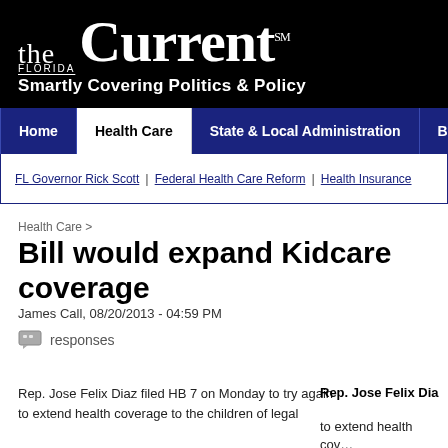the FLORIDA Current™ — Smartly Covering Politics & Policy
Home | Health Care | State & Local Administration | Budget & T…
FL Governor Rick Scott | Federal Health Care Reform | Health Insurance
Health Care >
Bill would expand Kidcare coverage
James Call, 08/20/2013 - 04:59 PM
responses
Rep. Jose Felix Diaz filed HB 7 on Monday to try again to extend health coverage to the children of legal
Rep. Jose Felix Dia… to extend health cov…